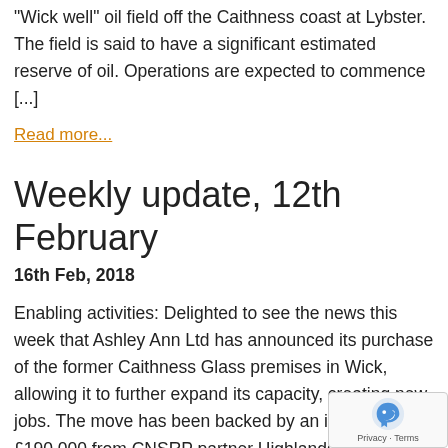“Wick well” oil field off the Caithness coast at Lybster. The field is said to have a significant estimated reserve of oil. Operations are expected to commence [...]
Read more...
Weekly update, 12th February
16th Feb, 2018
Enabling activities: Delighted to see the news this week that Ashley Ann Ltd has announced its purchase of the former Caithness Glass premises in Wick, allowing it to further expand its capacity, creating new jobs. The move has been backed by an investment of £190,000 from CNSRP partner Highlands and Islands Enterprise (HIE) http://news.hie.co.uk/all-news/caithness-fi… to-expand/ Our [...]